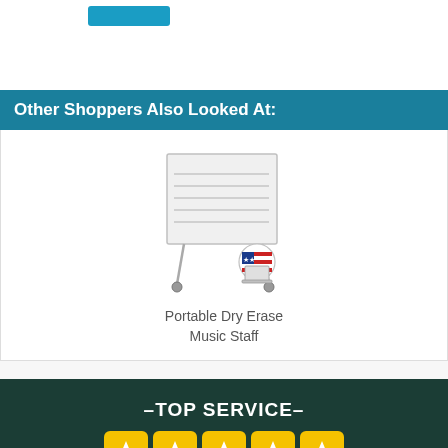[Figure (other): Blue button at top left area]
Other Shoppers Also Looked At:
[Figure (illustration): Portable Dry Erase Music Staff whiteboard on wheels with USA badge]
Portable Dry Erase Music Staff
–TOP SERVICE–
[Figure (other): Five yellow star rating boxes]
We're a Yahoo Five Star Store and we have received Yahoo Pro-Seller and Top Destination Store Awards. You can put your trust